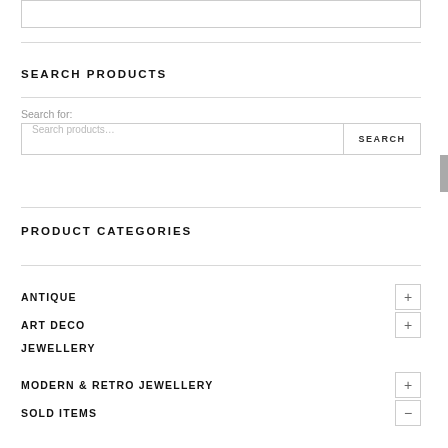[Figure (screenshot): Top partial input/text box, partially cropped at top of page]
SEARCH PRODUCTS
Search for:
[Figure (screenshot): Search input field with placeholder 'Search products...' and a SEARCH button]
PRODUCT CATEGORIES
ANTIQUE
ART DECO
JEWELLERY
MODERN & RETRO JEWELLERY
SOLD ITEMS